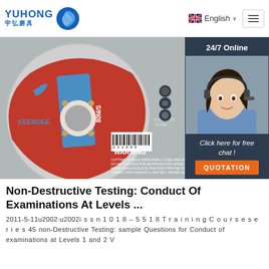YUHONG 宇弘磨具 | English | Menu
[Figure (photo): Red and blue grinding/cutting wheel labeled KEENDEE, SPEED 80M/S, with WARNING text and barcode. Right side shows 24/7 Online chat support woman with headset, Click here for free chat, QUOTATION button.]
Non-Destructive Testing: Conduct Of Examinations At Levels ...
2011-5-11u2002·u2002i s s n 1 0 1 8 – 5 5 1 8 T r a i n i n g C o u r s e s e r i e s 45 non-Destructive Testing: sample Questions for Conduct of examinations at Levels 1 and 2 V